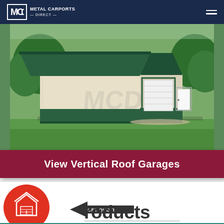MCD Metal Carports Direct
[Figure (photo): A metal garage building with green vertical roof, cream/beige siding, dark green wainscoting and trim, with a white roll-up garage door and white walk door on the right side, set on a grassy lawn with trees in the background.]
View Vertical Roof Garages
[Figure (infographic): Red circle icon with a white garage/house icon, an arrow pointing left with 'GET QUOTE' text, and partial large text reading 'roducts' (part of 'Products')]